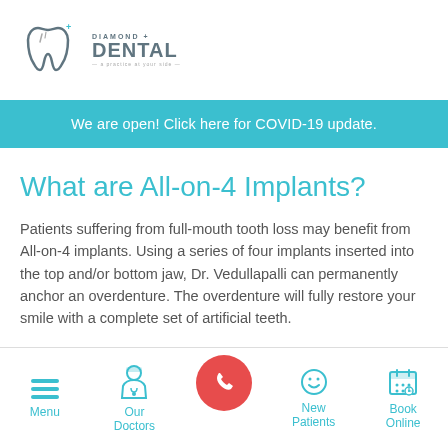[Figure (logo): Diamond Dental logo with tooth icon and text 'DIAMOND DENTAL']
We are open! Click here for COVID-19 update.
What are All-on-4 Implants?
Patients suffering from full-mouth tooth loss may benefit from All-on-4 implants. Using a series of four implants inserted into the top and/or bottom jaw, Dr. Vedullapalli can permanently anchor an overdenture. The overdenture will fully restore your smile with a complete set of artificial teeth.
[Figure (infographic): Bottom navigation bar with Menu (hamburger icon), Our Doctors (doctor icon), phone call button (red circle with phone icon), New Patients (smiley face icon), Book Online (calendar icon)]